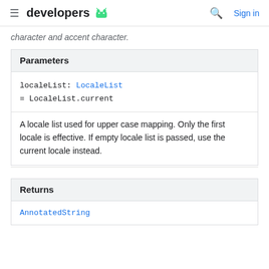developers [android logo] | [search] Sign in
character and accent character.
Parameters
localeList: LocaleList
= LocaleList.current
A locale list used for upper case mapping. Only the first locale is effective. If empty locale list is passed, use the current locale instead.
Returns
AnnotatedString